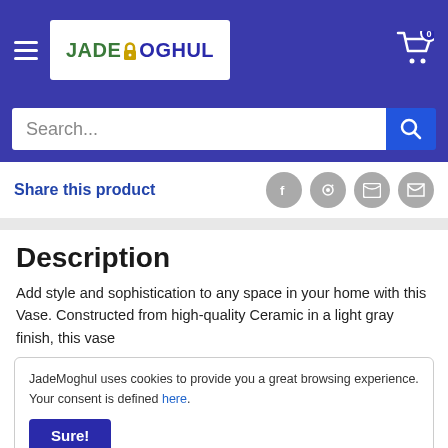[Figure (logo): JadeMoghul logo in white box with blue/green text and lock icon]
Search...
Share this product
Description
Add style and sophistication to any space in your home with this Vase. Constructed from high-quality Ceramic in a light gray finish, this vase
JadeMoghul uses cookies to provide you a great browsing experience. Your consent is defined here.
Sure!
entryway.